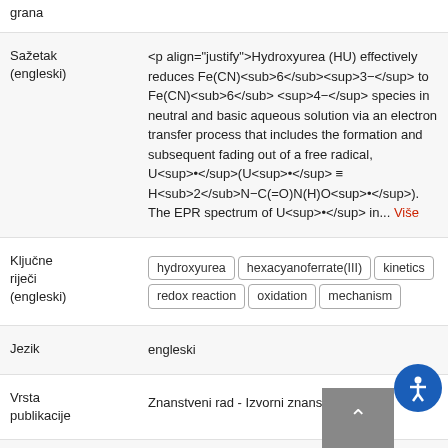grana
Sažetak (engleski)
<p align="justify">Hydroxyurea (HU) effectively reduces Fe(CN)<sub>6</sub><sup>3−</sup> to Fe(CN)<sub>6</sub> <sup>4−</sup> species in neutral and basic aqueous solution via an electron transfer process that includes the formation and subsequent fading out of a free radical, U<sup>•</sup>(U<sup>•</sup> ≡ H<sub>2</sub>N−C(=O)N(H)O<sup>•</sup>). The EPR spectrum of U<sup>•</sup> in... Više
Ključne riječi (engleski)
hydroxyurea | hexacyanoferrate(III) | kinetics | redox reaction | oxidation | mechanism
Jezik
engleski
Vrsta publikacije
Znanstveni rad - Izvorni znanstveni rad
Status
Objavljen